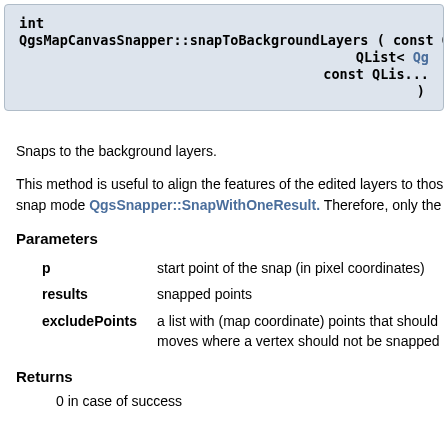int QgsMapCanvasSnapper::snapToBackgroundLayers ( const QPo... QList< Qg... const QLis... )
Snaps to the background layers.
This method is useful to align the features of the edited layers to thos snap mode QgsSnapper::SnapWithOneResult. Therefore, only the
Parameters
p — start point of the snap (in pixel coordinates)
results — snapped points
excludePoints — a list with (map coordinate) points that should moves where a vertex should not be snapped
Returns
0 in case of success